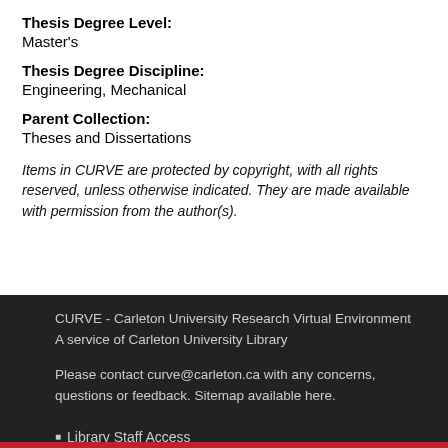Thesis Degree Level:
Master's
Thesis Degree Discipline:
Engineering, Mechanical
Parent Collection:
Theses and Dissertations
Items in CURVE are protected by copyright, with all rights reserved, unless otherwise indicated. They are made available with permission from the author(s).
CURVE - Carleton University Research Virtual Environment
A service of Carleton University Library

Please contact curve@carleton.ca with any concerns, questions or feedback. Sitemap available here.
Library Staff Access